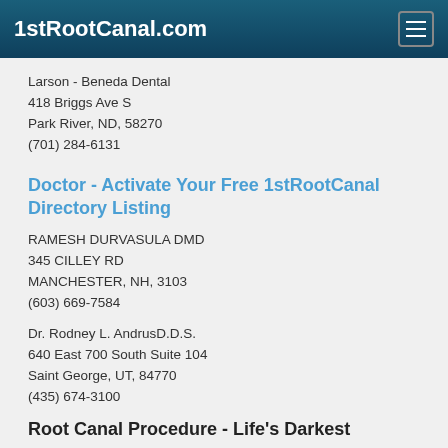1stRootCanal.com
Larson - Beneda Dental
418 Briggs Ave S
Park River, ND, 58270
(701) 284-6131
Doctor - Activate Your Free 1stRootCanal Directory Listing
RAMESH DURVASULA DMD
345 CILLEY RD
MANCHESTER, NH, 3103
(603) 669-7584
Dr. Rodney L. AndrusD.D.S.
640 East 700 South Suite 104
Saint George, UT, 84770
(435) 674-3100
Root Canal Procedure - Life's Darkest